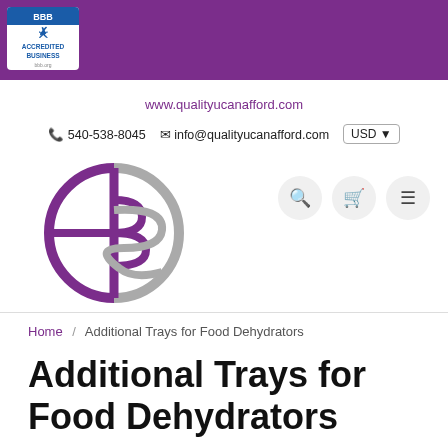[Figure (logo): BBB Accredited Business logo in top-left corner of purple header bar]
www.qualityucanafford.com
540-538-8045   info@qualityucanafford.com   USD
[Figure (logo): Company logo: stylized half-circle B and S letters in purple and grey]
Home / Additional Trays for Food Dehydrators
Additional Trays for Food Dehydrators